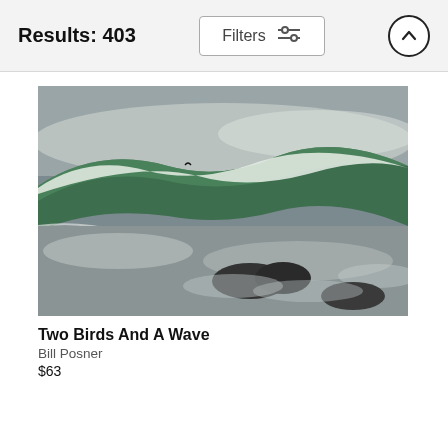Results: 403
[Figure (photo): Ocean wave photograph showing a large green cresting wave with white foam, a small bird visible near the wave crest, dark rocks in the foreground surrounded by churning white water and sea foam.]
Two Birds And A Wave
Bill Posner
$63